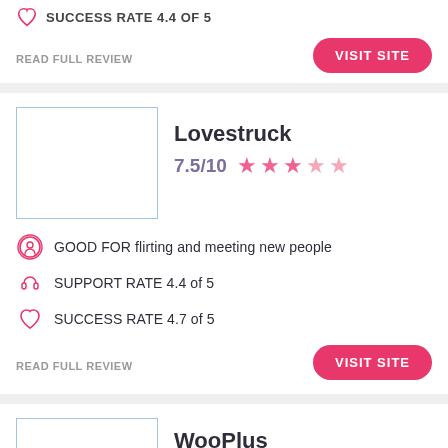SUCCESS RATE 4.4 of 5
READ FULL REVIEW
VISIT SITE
Lovestruck
7.5/10
GOOD FOR flirting and meeting new people
SUPPORT RATE 4.4 of 5
SUCCESS RATE 4.7 of 5
READ FULL REVIEW
VISIT SITE
WooPlus